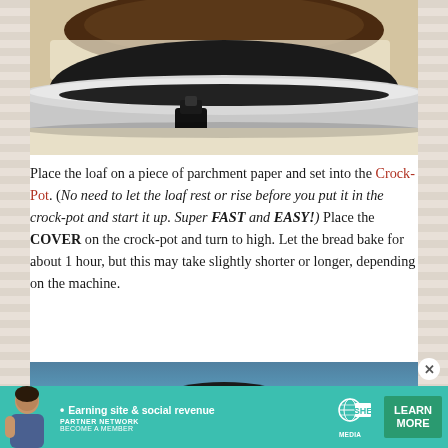[Figure (photo): Close-up photo of a crock-pot slow cooker with a bread loaf inside, showing the metallic rim and black ceramic interior with a clip/lock on the side.]
Place the loaf on a piece of parchment paper and set into the Crock-Pot. (No need to let the loaf rest or rise before you put it in the crock-pot and start it up. Super FAST and EASY!) Place the COVER on the crock-pot and turn to high. Let the bread bake for about 1 hour, but this may take slightly shorter or longer, depending on the machine.
[Figure (photo): Partial bottom photo showing a crock-pot with blue/teal background, arc of black slow cooker lid visible.]
[Figure (other): Advertisement banner: SHE Media Partner Network. Earning site & social revenue. Learn More button. Become a Member.]